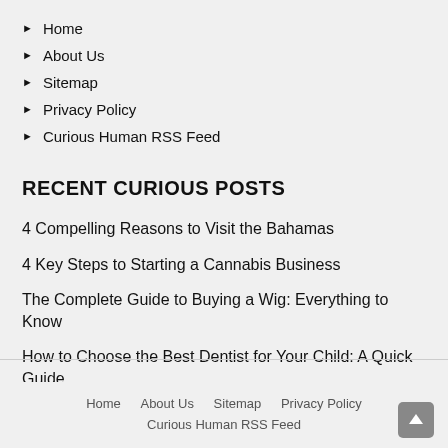Home
About Us
Sitemap
Privacy Policy
Curious Human RSS Feed
RECENT CURIOUS POSTS
4 Compelling Reasons to Visit the Bahamas
4 Key Steps to Starting a Cannabis Business
The Complete Guide to Buying a Wig: Everything to Know
How to Choose the Best Dentist for Your Child: A Quick Guide
Air Max Style: How to Style Your Air Max 90s
Home   About Us   Sitemap   Privacy Policy   Curious Human RSS Feed